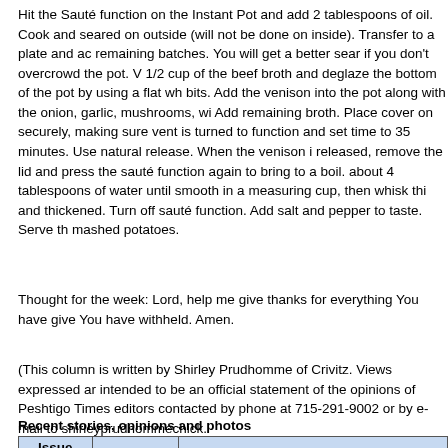Hit the Sauté function on the Instant Pot and add 2 tablespoons of oil. Cook and seared on outside (will not be done on inside). Transfer to a plate and add remaining batches. You will get a better sear if you don't overcrowd the pot. 1/2 cup of the beef broth and deglaze the bottom of the pot by using a flat wh bits. Add the venison into the pot along with the onion, garlic, mushrooms, wi Add remaining broth. Place cover on securely, making sure vent is turned to function and set time to 35 minutes. Use natural release. When the venison i released, remove the lid and press the sauté function again to bring to a boil. about 4 tablespoons of water until smooth in a measuring cup, then whisk thi and thickened. Turn off sauté function. Add salt and pepper to taste. Serve th mashed potatoes.
Thought for the week: Lord, help me give thanks for everything You have give You have withheld. Amen.
(This column is written by Shirley Prudhomme of Crivitz. Views expressed ar intended to be an official statement of the opinions of Peshtigo Times editors contacted by phone at 715-291-9002 or by e-mail to shirleyprudhommechick.
Recent stories, opinions and photos
| Issue Date | Department | Headline |
| --- | --- | --- |
| 08-17-2022 | Front Page | New $800,000 Badger Park Playground to Open... |